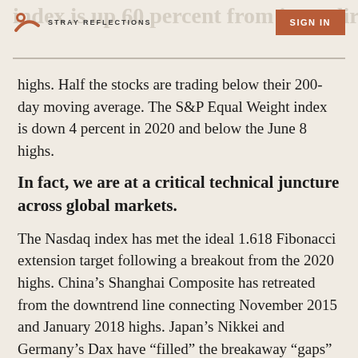STRAY REFLECTIONS | SIGN IN
index is up 60 percent from its nadir in ... only 6 percent of stocks are making 52-week highs. Half the stocks are trading below their 200-day moving average. The S&P Equal Weight index is down 4 percent in 2020 and below the June 8 highs.
In fact, we are at a critical technical juncture across global markets.
The Nasdaq index has met the ideal 1.618 Fibonacci extension target following a breakout from the 2020 highs. China's Shanghai Composite has retreated from the downtrend line connecting November 2015 and January 2018 highs. Japan's Nikkei and Germany's Dax have “filled” the breakaway “gaps” created during the stock